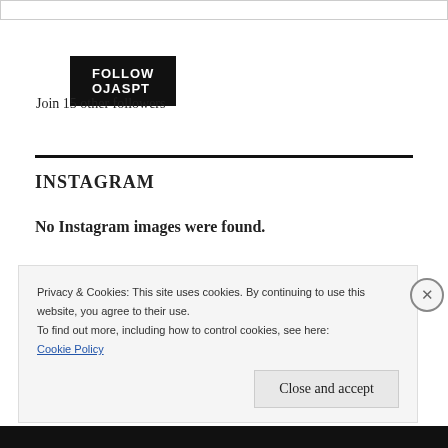[Figure (screenshot): Top border bar of a website widget]
FOLLOW OJASPT
Join 15 other followers
INSTAGRAM
No Instagram images were found.
Privacy & Cookies: This site uses cookies. By continuing to use this website, you agree to their use.
To find out more, including how to control cookies, see here:
Cookie Policy
Close and accept